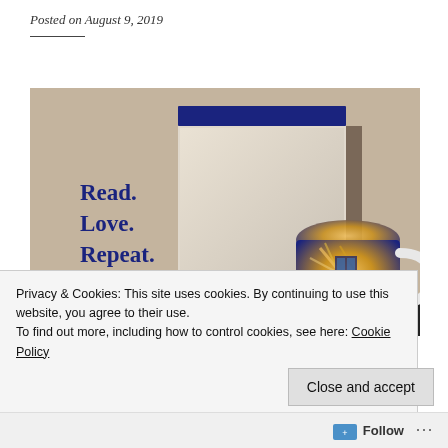Posted on August 9, 2019
[Figure (photo): Open book box with dark blue lid on a shelf background showing 'Read. Love. Repeat.' text on the side, with a Doctor Who TARDIS-themed mug on a dark shelf to the right.]
Privacy & Cookies: This site uses cookies. By continuing to use this website, you agree to their use.
To find out more, including how to control cookies, see here: Cookie Policy
Close and accept
Follow